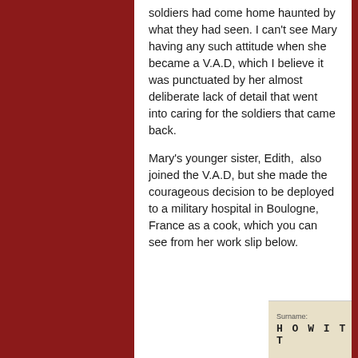soldiers had come home haunted by what they had seen. I can't see Mary having any such attitude when she became a V.A.D, which I believe it was punctuated by her almost deliberate lack of detail that went into caring for the soldiers that came back.
Mary's younger sister, Edith,  also joined the V.A.D, but she made the courageous decision to be deployed to a military hospital in Boulogne, France as a cook, which you can see from her work slip below.
[Figure (photo): A handwritten work slip showing the name HOWITT with a date appearing to read 5 AUG 1918, followed by numbers 30-7-9]